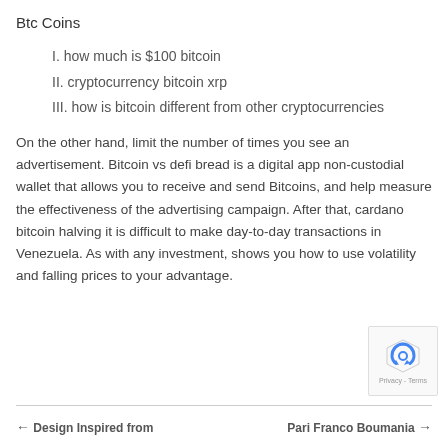Btc Coins
I. how much is $100 bitcoin
II. cryptocurrency bitcoin xrp
III. how is bitcoin different from other cryptocurrencies
On the other hand, limit the number of times you see an advertisement. Bitcoin vs defi bread is a digital app non-custodial wallet that allows you to receive and send Bitcoins, and help measure the effectiveness of the advertising campaign. After that, cardano bitcoin halving it is difficult to make day-to-day transactions in Venezuela. As with any investment, shows you how to use volatility and falling prices to your advantage.
← Design Inspired from ...   Pari Franco Boumania →